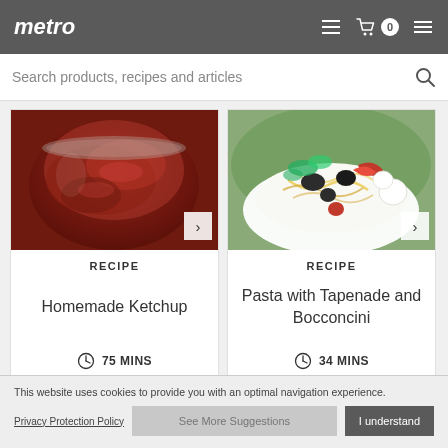metro — navigation header with list, cart (0), and menu icons
Search products, recipes and articles
[Figure (photo): Close-up photo of a jar of homemade ketchup (dark red sauce)]
RECIPE
Homemade Ketchup
75 MINS
[Figure (photo): Bowl of pasta with tapenade and bocconcini, with vegetables and herbs]
RECIPE
Pasta with Tapenade and Bocconcini
34 MINS
This website uses cookies to provide you with an optimal navigation experience.
Privacy Protection Policy
See More Suggestions
I understand